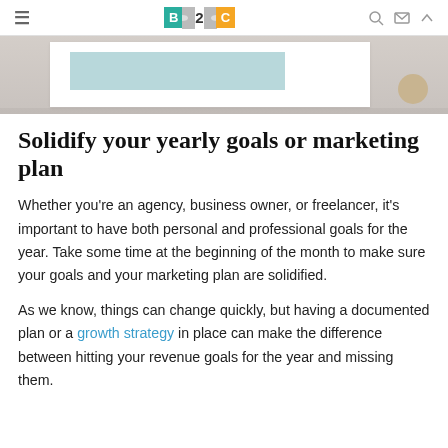B2C (logo) — navigation bar with hamburger menu, search, mail, and up icons
[Figure (photo): Hero image showing a desk or workspace with a white board/frame containing a light blue rectangle, on a light beige surface, with a small wooden object on the right side.]
Solidify your yearly goals or marketing plan
Whether you're an agency, business owner, or freelancer, it's important to have both personal and professional goals for the year. Take some time at the beginning of the month to make sure your goals and your marketing plan are solidified.
As we know, things can change quickly, but having a documented plan or a growth strategy in place can make the difference between hitting your revenue goals for the year and missing them.